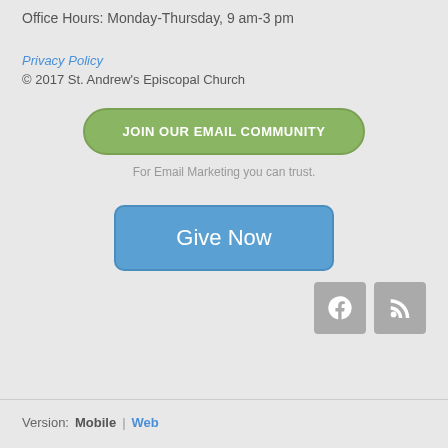Office Hours: Monday-Thursday, 9 am-3 pm
Privacy Policy
© 2017 St. Andrew's Episcopal Church
JOIN OUR EMAIL COMMUNITY
For Email Marketing you can trust.
Give Now
[Figure (other): Facebook and RSS social media icons, grey square buttons]
Version: Mobile | Web